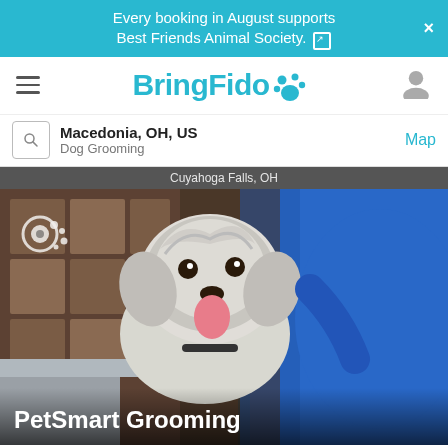Every booking in August supports Best Friends Animal Society.
[Figure (logo): BringFido logo with paw print icon in teal color]
Macedonia, OH, US — Dog Grooming
[Figure (photo): A fluffy gray and white dog being held by a groomer in a blue shirt at a grooming salon. Dog is smiling with tongue out. PetSmart Grooming listed at bottom.]
PetSmart Grooming